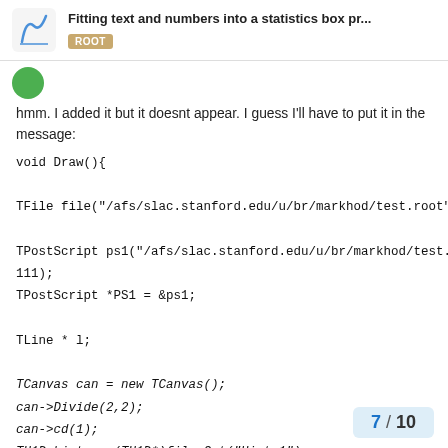Fitting text and numbers into a statistics box pr... ROOT
hmm. I added it but it doesnt appear. I guess I'll have to put it in the message:
void Draw(){

TFile file("/afs/slac.stanford.edu/u/br/markhod/test.root");

TPostScript ps1("/afs/slac.stanford.edu/u/br/markhod/test.ps", 111);
TPostScript *PS1 = &ps1;

TLine * l;

TCanvas can = new TCanvas();
can->Divide(2,2);
can->cd(1);
TH1D histo = (TH1D*)file.Get("Hist;1");
histo->Draw();
gPad->Update();
l = ThisIsALongFunctionNameHere->GetBi...
7 / 10